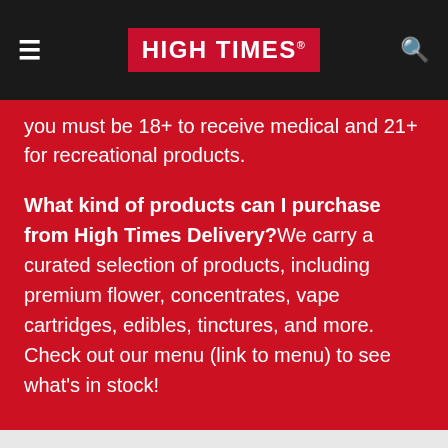HIGH TIMES
you must be 18+ to receive medical and 21+ for recreational products.
What kind of products can I purchase from High Times Delivery? We carry a curated selection of products, including premium flower, concentrates, vape cartridges, edibles, tinctures, and more. Check out our menu (link to menu) to see what's in stock!